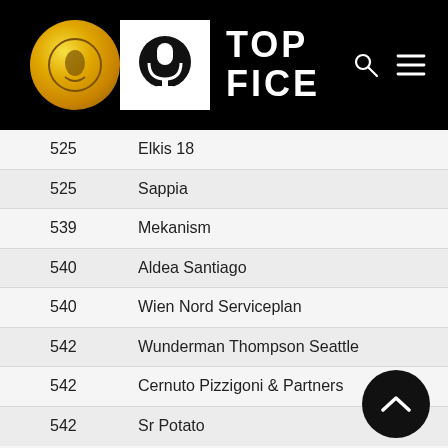[Figure (logo): Top Fice logo header with gold coin, microphone icon on white background, and TOP FICE text in white on black background, with search and menu icons]
| Rank | Name |
| --- | --- |
| 525 | Elkis 18 |
| 525 | Sappia |
| 539 | Mekanism |
| 540 | Aldea Santiago |
| 540 | Wien Nord Serviceplan |
| 542 | Wunderman Thompson Seattle |
| 542 | Cernuto Pizzigoni & Partners |
| 542 | Sr Potato |